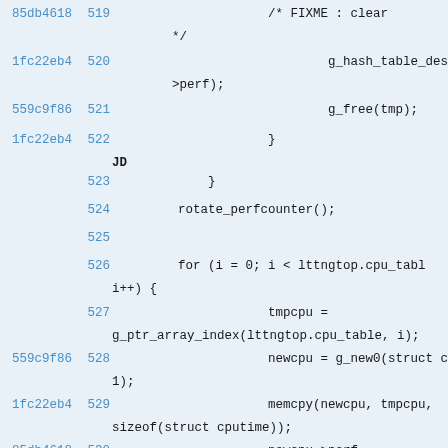[Figure (screenshot): Source code diff view showing lines 519-530 of a C program with commit hashes, line numbers, and code content on a light blue background. Code includes g_hash_table_dest, g_free, rotate_perfcounter, for loop, tmpcpu assignment, newcpu = g_new0, memcpy, and newcpu->perf operations.]